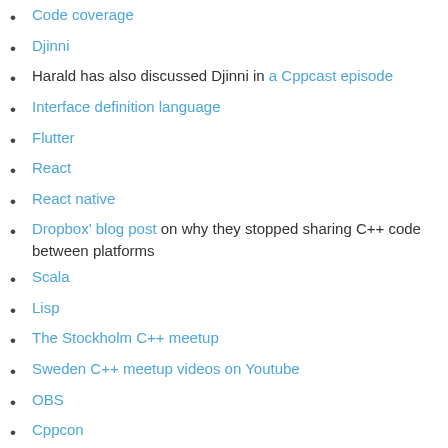Code coverage
Djinni
Harald has also discussed Djinni in a Cppcast episode
Interface definition language
Flutter
React
React native
Dropbox' blog post on why they stopped sharing C++ code between platforms
Scala
Lisp
The Stockholm C++ meetup
Sweden C++ meetup videos on Youtube
OBS
Cppcon
swedencpp.se - umbrella site for all the Swedish C++ meetups mentioned
ISO